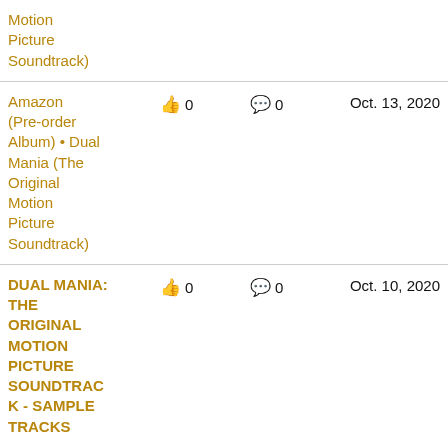Motion Picture Soundtrack)
Amazon (Pre-order Album) • Dual Mania (The Original Motion Picture Soundtrack)
👍 0   💬 0   Oct. 13, 2020
DUAL MANIA: THE ORIGINAL MOTION PICTURE SOUNDTRACK - SAMPLE TRACKS
👍 0   💬 0   Oct. 10, 2020